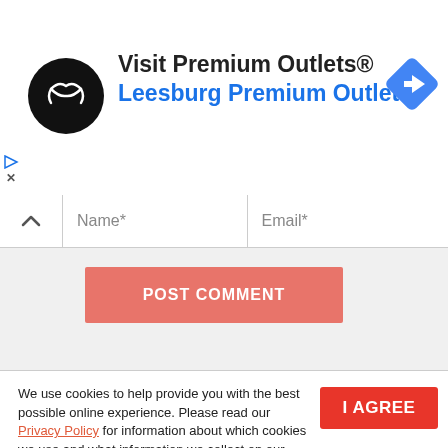[Figure (logo): Premium Outlets circular black logo with double arrows, ad banner with navigation icon and text 'Visit Premium Outlets® Leesburg Premium Outlets']
Name*
Email*
POST COMMENT
We use cookies to help provide you with the best possible online experience. Please read our Privacy Policy for information about which cookies we use and what information we collect on our site. By continuing to use this site, you agree that we may store and access cookies on your device.
I AGREE